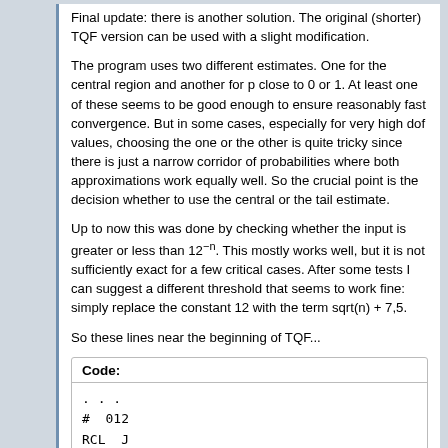Final update: there is another solution. The original (shorter) TQF version can be used with a slight modification.
The program uses two different estimates. One for the central region and another for p close to 0 or 1. At least one of these seems to be good enough to ensure reasonably fast convergence. But in some cases, especially for very high dof values, choosing the one or the other is quite tricky since there is just a narrow corridor of probabilities where both approximations work equally well. So the crucial point is the decision whether to use the central or the tail estimate.
Up to now this was done by checking whether the input is greater or less than 12^{-n}. This mostly works well, but it is not sufficiently exact for a few critical cases. After some tests I can suggest a different threshold that seems to work fine: simply replace the constant 12 with the term sqrt(n) + 7,5.
So these lines near the beginning of TQF...
| Code: |
| --- |
| ... |
| #  012 |
| RCL  J |